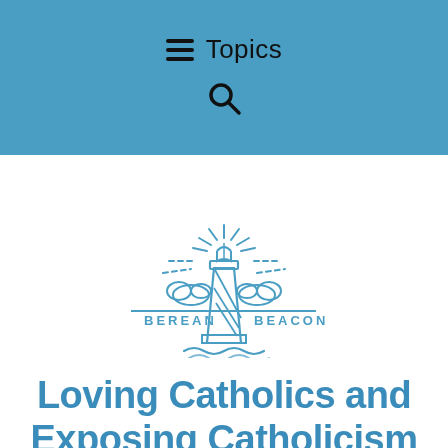Topics
[Figure (logo): Berean Beacon logo: lighthouse with open book on top radiating light rays, flanked by clouds, with waves below. Text reads BEREAN BEACON on either side of the lighthouse.]
Loving Catholics and Exposing Catholicism